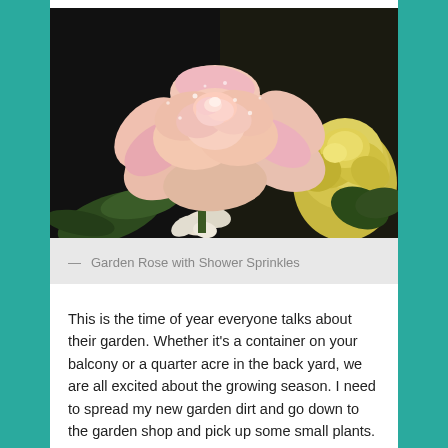[Figure (photo): Close-up photograph of a pink and peach garden rose with water droplets, against a dark background, with a yellow rose bud visible in the lower right.]
— Garden Rose with Shower Sprinkles
This is the time of year everyone talks about their garden. Whether it's a container on your balcony or a quarter acre in the back yard, we are all excited about the growing season. I need to spread my new garden dirt and go down to the garden shop and pick up some small plants. Some fencing too, if we want anything to survive the chipmunks and squirrels. My herbs are doing very well. I have ground lamb to turn into mini-meatballs for tonight's pasta dinner